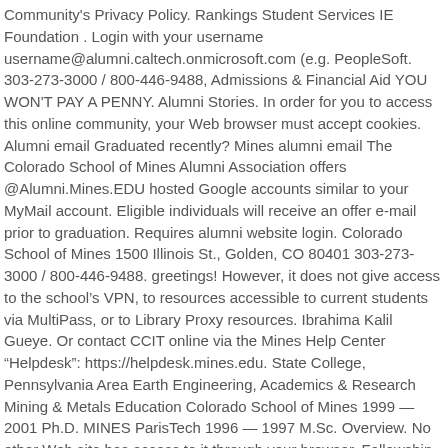Community's Privacy Policy. Rankings Student Services IE Foundation . Login with your username username@alumni.caltech.onmicrosoft.com (e.g. PeopleSoft. 303-273-3000 / 800-446-9488, Admissions & Financial Aid YOU WON'T PAY A PENNY. Alumni Stories. In order for you to access this online community, your Web browser must accept cookies. Alumni email Graduated recently? Mines alumni email The Colorado School of Mines Alumni Association offers @Alumni.Mines.EDU hosted Google accounts similar to your MyMail account. Eligible individuals will receive an offer e-mail prior to graduation. Requires alumni website login. Colorado School of Mines 1500 Illinois St., Golden, CO 80401 303-273-3000 / 800-446-9488. greetings! However, it does not give access to the school's VPN, to resources accessible to current students via MultiPass, or to Library Proxy resources. Ibrahima Kalil Gueye. Or contact CCIT online via the Mines Help Center “Helpdesk”: https://helpdesk.mines.edu. State College, Pennsylvania Area Earth Engineering, Academics & Research Mining & Metals Education Colorado School of Mines 1999 — 2001 Ph.D. MINES ParisTech 1996 — 1997 M.Sc. Overview. No other Web site has access to it through your browser. Fellowship Response to COVID-19. Note: Alumni who graduated in July 2013 or after can continue to use their NUS lifelong email accounts (Ou.nus.edu)